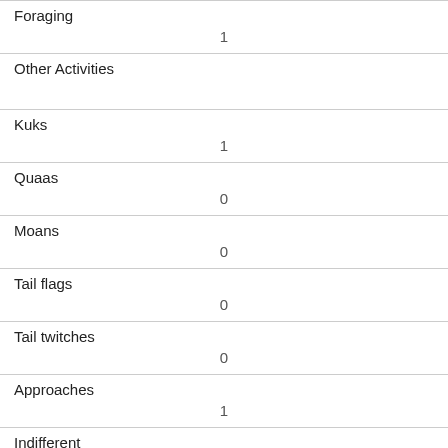| Foraging | 1 |
| Other Activities |  |
| Kuks | 1 |
| Quaas | 0 |
| Moans | 0 |
| Tail flags | 0 |
| Tail twitches | 0 |
| Approaches | 1 |
| Indifferent | 0 |
| Runs from | 1 |